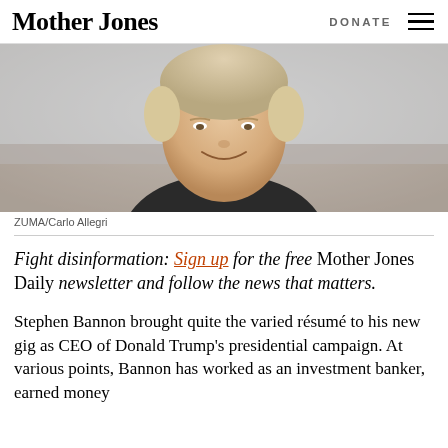Mother Jones    DONATE  ☰
[Figure (photo): Photo of Steve Bannon, a middle-aged man with light hair, wearing a dark jacket and light blue shirt, smiling, in an office setting.]
ZUMA/Carlo Allegri
Fight disinformation: Sign up for the free Mother Jones Daily newsletter and follow the news that matters.
Stephen Bannon brought quite the varied résumé to his new gig as CEO of Donald Trump's presidential campaign. At various points, Bannon has worked as an investment banker, earned money